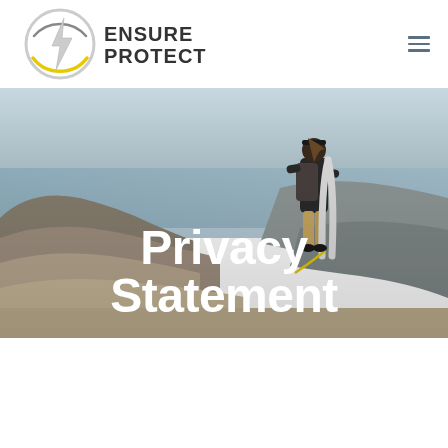[Figure (logo): Ensure Protect logo with lightning bolt in circular badge and text ENSURE PROTECT]
[Figure (photo): A person with a backpack carrying a surfboard walking along a rocky beach shoreline, viewed from behind, with ocean in background. Overlaid with large white text reading Privacy Statement.]
Privacy Statement